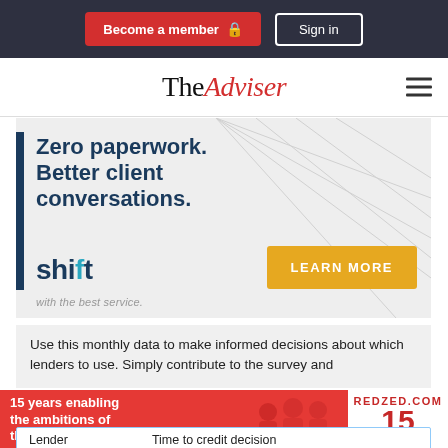Become a member | Sign in
TheAdviser
[Figure (advertisement): Shift technology ad: 'Zero paperwork. Better client conversations.' with LEARN MORE button]
Use this monthly data to make informed decisions about which lenders to use. Simply contribute to the survey and
[Figure (advertisement): RedZed ad: '15 years enabling the ambitions of the self-employed' with REDZED.COM branding]
| Lender | Time to credit decision |
| --- | --- |